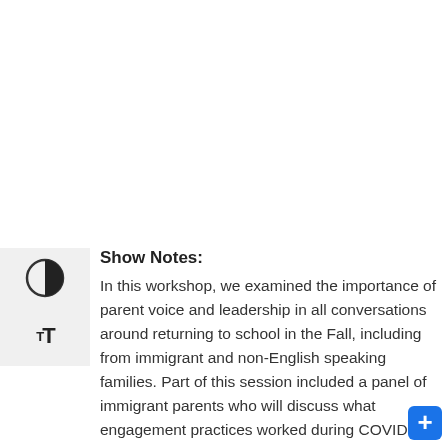Show Notes:
In this workshop, we examined the importance of parent voice and leadership in all conversations around returning to school in the Fall, including from immigrant and non-English speaking families. Part of this session included a panel of immigrant parents who will discuss what engagement practices worked during COVID-19 and what we might continue with this fall. Learning objectives: – Examine the importance of parent voice and